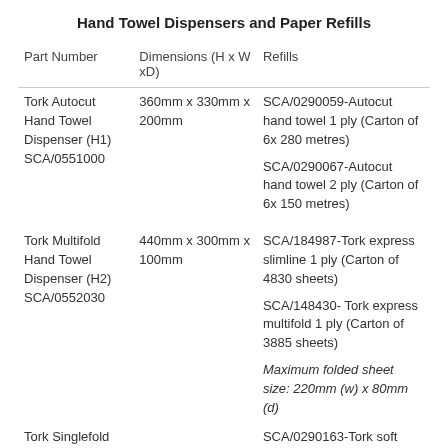Hand Towel Dispensers and Paper Refills
| Part Number | Dimensions (H x W xD) | Refills |
| --- | --- | --- |
| Tork Autocut Hand Towel Dispenser (H1)
SCA/0551000 | 360mm x 330mm x 200mm | SCA/0290059-Autocut hand towel 1 ply (Carton of 6x 280 metres)
SCA/0290067-Autocut hand towel 2 ply (Carton of 6x 150 metres) |
| Tork Multifold Hand Towel Dispenser (H2)
SCA/0552030 | 440mm x 300mm x 100mm | SCA/184987-Tork express slimline 1 ply (Carton of 4830 sheets)
SCA/148430- Tork express multifold 1 ply (Carton of 3885 sheets)
Maximum folded sheet size: 220mm (w) x 80mm (d) |
| Tork Singlefold |  | SCA/0290163-Tork soft singlefold hand towel |